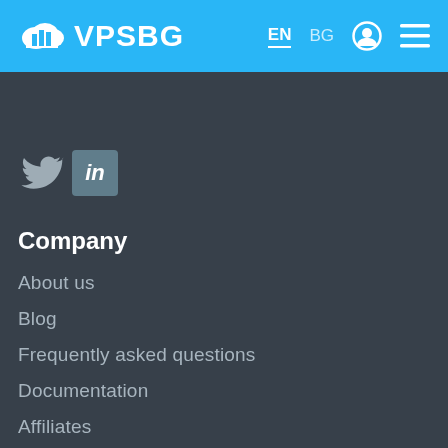VPSBG   EN  BG
[Figure (logo): VPSBG cloud logo with bar chart icon and text VPSBG in white on blue header bar]
[Figure (illustration): Twitter bird icon and LinkedIn 'in' icon social media logos]
Company
About us
Blog
Frequently asked questions
Documentation
Affiliates
Cookies policy
Careers
Datacenter
Network